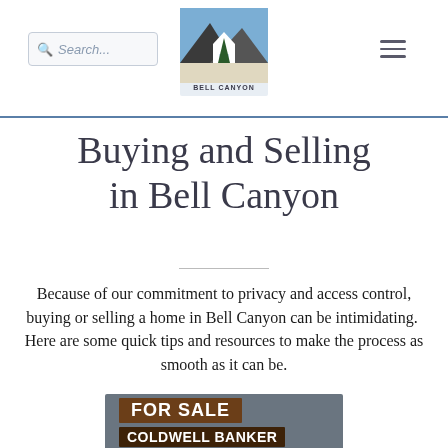Search... [Bell Canyon logo] [hamburger menu]
Buying and Selling in Bell Canyon
Because of our commitment to privacy and access control, buying or selling a home in Bell Canyon can be intimidating.  Here are some quick tips and resources to make the process as smooth as it can be.
[Figure (photo): A wooden FOR SALE sign with COLDWELL BANKER text, photographed in front of a dark-colored building, partially cropped at bottom of page.]